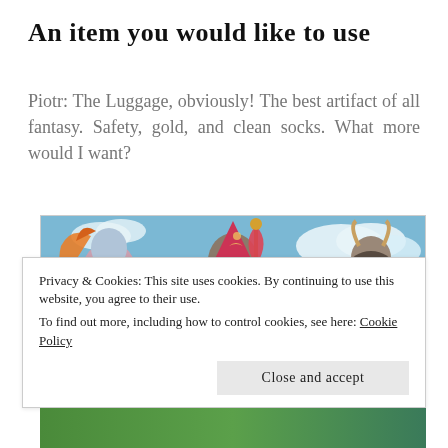An item you would like to use
Piotr: The Luggage, obviously! The best artifact of all fantasy. Safety, gold, and clean socks. What more would I want?
[Figure (illustration): Fantasy illustration showing colorful characters including a woman, a wizard in a red robe with a pointed hat decorated with moons and stars, and a horned warrior figure, against a blue sky background]
Privacy & Cookies: This site uses cookies. By continuing to use this website, you agree to their use.
To find out more, including how to control cookies, see here: Cookie Policy
Close and accept